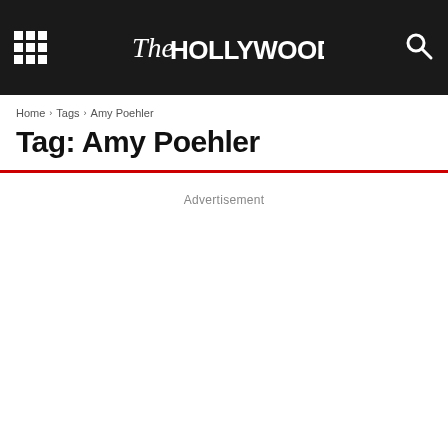The Hollywood Times
Home › Tags › Amy Poehler
Tag: Amy Poehler
Advertisement